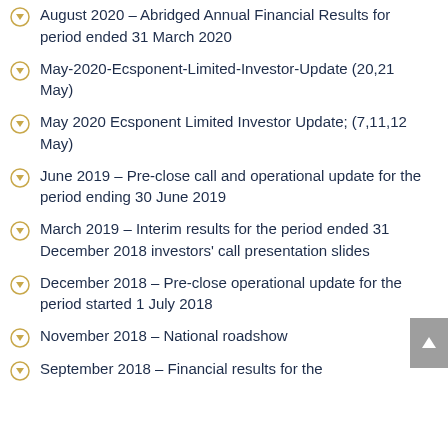August 2020 – Abridged Annual Financial Results for period ended 31 March 2020
May-2020-Ecsponent-Limited-Investor-Update (20,21 May)
May 2020 Ecsponent Limited Investor Update; (7,11,12 May)
June 2019 – Pre-close call and operational update for the period ending 30 June 2019
March 2019 – Interim results for the period ended 31 December 2018 investors' call presentation slides
December 2018 – Pre-close operational update for the period started 1 July 2018
November 2018 – National roadshow
September 2018 – Financial results for the